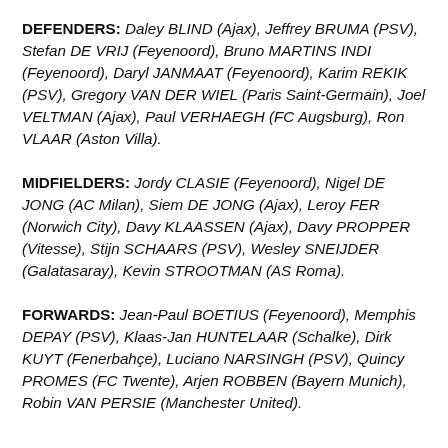DEFENDERS: Daley BLIND (Ajax), Jeffrey BRUMA (PSV), Stefan DE VRIJ (Feyenoord), Bruno MARTINS INDI (Feyenoord), Daryl JANMAAT (Feyenoord), Karim REKIK (PSV), Gregory VAN DER WIEL (Paris Saint-Germain), Joel VELTMAN (Ajax), Paul VERHAEGH (FC Augsburg), Ron VLAAR (Aston Villa).
MIDFIELDERS: Jordy CLASIE (Feyenoord), Nigel DE JONG (AC Milan), Siem DE JONG (Ajax), Leroy FER (Norwich City), Davy KLAASSEN (Ajax), Davy PROPPER (Vitesse), Stijn SCHAARS (PSV), Wesley SNEIJDER (Galatasaray), Kevin STROOTMAN (AS Roma).
FORWARDS: Jean-Paul BOETIUS (Feyenoord), Memphis DEPAY (PSV), Klaas-Jan HUNTELAAR (Schalke), Dirk KUYT (Fenerbahçe), Luciano NARSINGH (PSV), Quincy PROMES (FC Twente), Arjen ROBBEN (Bayern Munich), Robin VAN PERSIE (Manchester United).